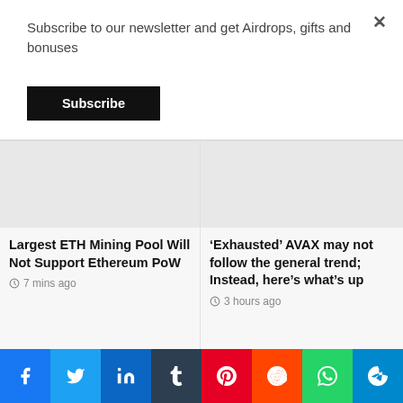Subscribe to our newsletter and get Airdrops, gifts and bonuses
Subscribe
Largest ETH Mining Pool Will Not Support Ethereum PoW
7 mins ago
'Exhausted' AVAX may not follow the general trend; Instead, here's what's up
3 hours ago